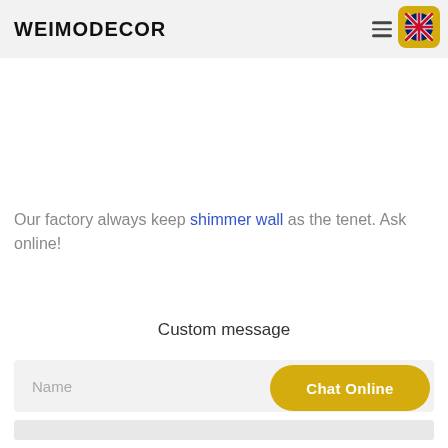WEIMODECOR
Our factory always keep shimmer wall as the tenet. Ask online!
Custom message
Name
Chat Online